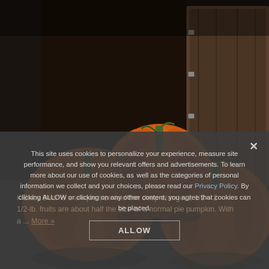[Figure (photo): Three orange pumpkins with green stems arranged on a dark wooden surface, with a wooden crate in the background. The pumpkins are lit dramatically against a dark backdrop.]
This site uses cookies to personalize your experience, measure site performance, and show you relevant offers and advertisements. To learn more about our use of cookies, as well as the categories of personal information we collect and your choices, please read our Privacy Policy. By clicking ALLOW or clicking on any other content, you agree that cookies can be placed.
ALLOW
Baby Bear is a unique size and the deep orange, 1 1/2 – 2 1/2-lb. fruits are about half the size of a normal pie pumpkin. With ... More »